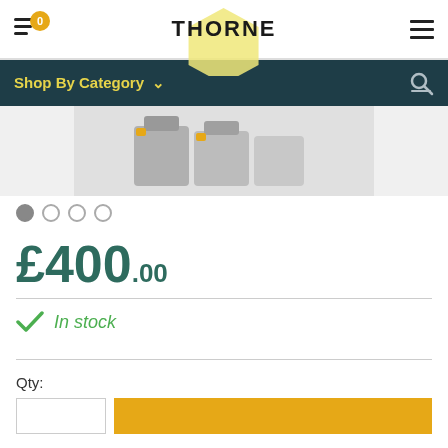THORNE — Shop navigation header with cart icon (badge: 0) and hamburger menu
Shop By Category ∨
[Figure (photo): Product photo showing grey plastic containers/bins with yellow accents on a white surface, partially visible.]
£400.00
In stock
Qty: